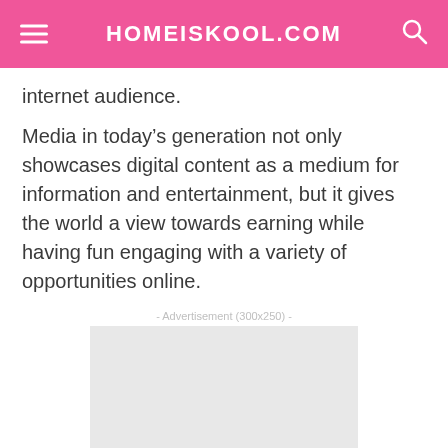HOMEISKOOL.COM
internet audience.
Media in today’s generation not only showcases digital content as a medium for information and entertainment, but it gives the world a view towards earning while having fun engaging with a variety of opportunities online.
[Figure (other): Advertisement placeholder box 300x250]